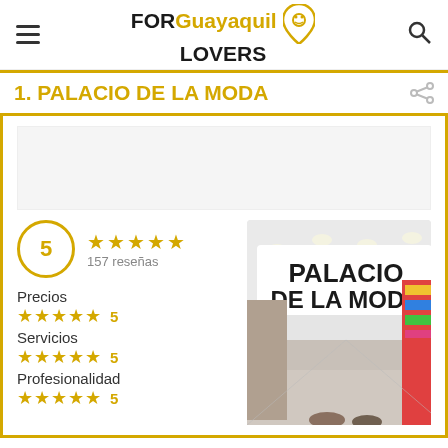FOR Guayaquil LOVERS
1. PALACIO DE LA MODA
[Figure (other): Ad space placeholder]
5 ★★★★★ 157 reseñas
Precios ★★★★★ 5
Servicios ★★★★★ 5
Profesionalidad ★★★★★ 5
[Figure (photo): Interior/exterior photo of Palacio de la Moda store showing the storefront sign reading PALACIO DE LA MODA with bright ceiling lights and clothing displays]